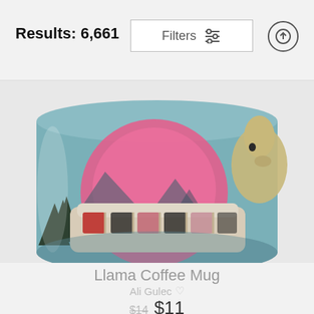Results: 6,661
[Figure (photo): A ceramic coffee mug featuring a colorful graphic design with a pink circle/sun, mountains, pine trees, a vintage van/bus, and a llama on a teal background]
Llama Coffee Mug
Ali Gulec
$14 $11